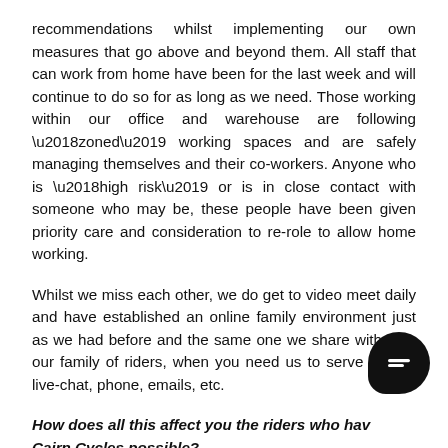recommendations whilst implementing our own measures that go above and beyond them. All staff that can work from home have been for the last week and will continue to do so for as long as we need. Those working within our office and warehouse are following ‘zoned’ working spaces and are safely managing themselves and their co-workers. Anyone who is ‘high risk’ or is in close contact with someone who may be, these people have been given priority care and consideration to re-role to allow home working.
Whilst we miss each other, we do get to video meet daily and have established an online family environment just as we had before and the same one we share with you, our family of riders, when you need us to serve you by live-chat, phone, emails, etc.
How does all this affect you the riders who hav… Cairn Cycles possible?
We...